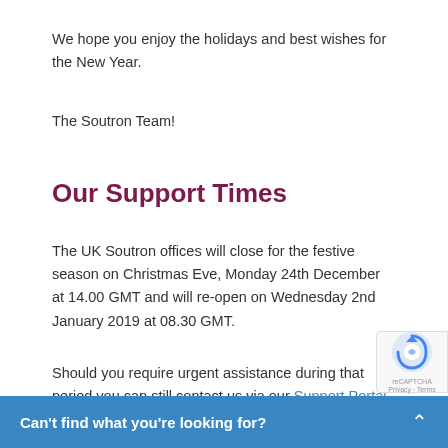We hope you enjoy the holidays and best wishes for the New Year.
The Soutron Team!
Our Support Times
The UK Soutron offices will close for the festive season on Christmas Eve, Monday 24th December at 14.00 GMT and will re-open on Wednesday 2nd January 2019 at 08.30 GMT.
Should you require urgent assistance during that period you can still contact us via our Support Portal or via email at helpdesk@soutron.com. Alternatively, you may wish to leave a message on our help desk suppor…
Can't find what you're looking for?